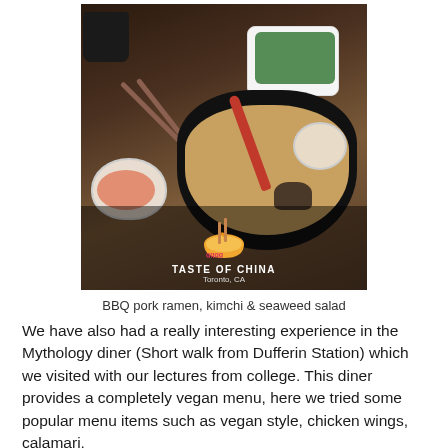[Figure (photo): Photo of BBQ pork ramen bowl with a red spoon, alongside a white plate of seaweed salad and a small bowl of kimchi on a dark wooden table. A Snapchat-style overlay shows the Taste of China logo (bowl with chopsticks icon) and text 'TASTE OF CHINA / Toronto, CA'.]
BBQ pork ramen, kimchi & seaweed salad
We have also had a really interesting experience in the Mythology diner (Short walk from Dufferin Station) which we visited with our lectures from college. This diner provides a completely vegan menu, here we tried some popular menu items such as vegan style, chicken wings, calamari,